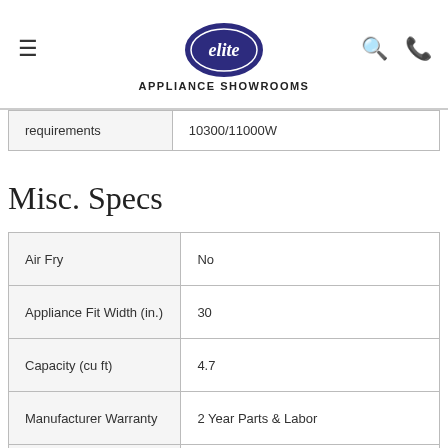elite APPLIANCE SHOWROOMS
| requirements | 10300/11000W |
Misc. Specs
| Air Fry | No |
| Appliance Fit Width (in.) | 30 |
| Capacity (cu ft) | 4.7 |
| Manufacturer Warranty | 2 Year Parts & Labor |
| Color Finish Name | Stainless Steel |